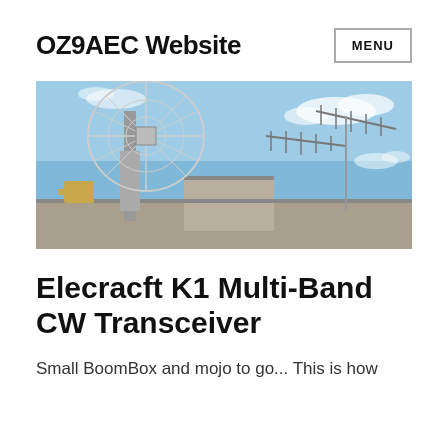OZ9AEC Website
[Figure (photo): Outdoor photo of a large parabolic/grid radio antenna tower with several smaller Yagi antennas against a blue sky with light clouds. A building rooftop is visible in the foreground.]
Elecracft K1 Multi-Band CW Transceiver
Small BoomBox and mojo to go... This is how